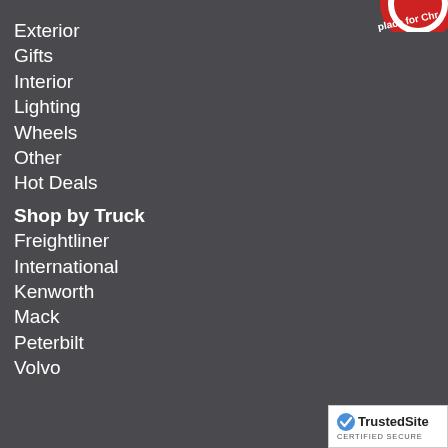[Figure (logo): Partial circular logo/badge visible in upper right corner with red and white design, text partially readable as 'place for Chr...']
Exterior
Gifts
Interior
Lighting
Wheels
Other
Hot Deals
Shop by Truck
Freightliner
International
Kenworth
Mack
Peterbilt
Volvo
[Figure (logo): TrustedSite CERTIFIED SECURE badge in bottom right corner, white background with green checkmark]